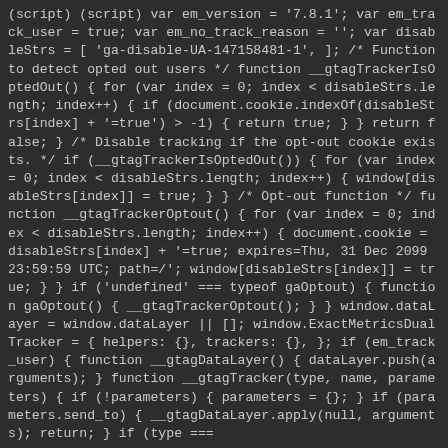(script) (script) var em_version = '7.8.1'; var em_track_user = true; var em_no_track_reason = ''; var disableStrs = [ 'ga-disable-UA-147158481-1', ]; /* Function to detect opted out users */ function __gtagTrackerIsOptedOut() { for (var index = 0; index < disableStrs.length; index++) { if (document.cookie.indexOf(disableStrs[index] + '=true') > -1) { return true; } } return false; } /* Disable tracking if the opt-out cookie exists. */ if (__gtagTrackerIsOptedOut()) { for (var index = 0; index < disableStrs.length; index++) { window[disableStrs[index]] = true; } } /* Opt-out function */ function __gtagTrackerOptout() { for (var index = 0; index < disableStrs.length; index++) { document.cookie = disableStrs[index] + '=true; expires=Thu, 31 Dec 2099 23:59:59 UTC; path=/'; window[disableStrs[index]] = true; } } if ('undefined' === typeof gaOptout) { function gaOptout() { __gtagTrackerOptout(); } } window.dataLayer = window.dataLayer || []; window.ExactMetricsDualTracker = { helpers: {}, trackers: {}, }; if (em_track_user) { function __gtagDataLayer() { dataLayer.push(arguments); } function __gtagTracker(type, name, parameters) { if (!parameters) { parameters = {}; } if (parameters.send_to) { __gtagDataLayer.apply(null, arguments); return; } if (type ===